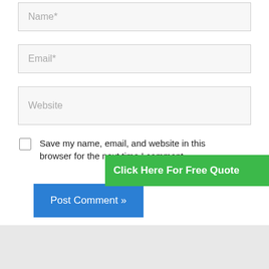[Figure (screenshot): Form input field with placeholder text 'Name*']
[Figure (screenshot): Form input field with placeholder text 'Email*']
[Figure (screenshot): Form input field with placeholder text 'Website']
Save my name, email, and website in this browser for the next time I comment.
[Figure (screenshot): Green banner button with text 'Click Here For Free Quote']
[Figure (screenshot): Blue button with text 'Post Comment »']